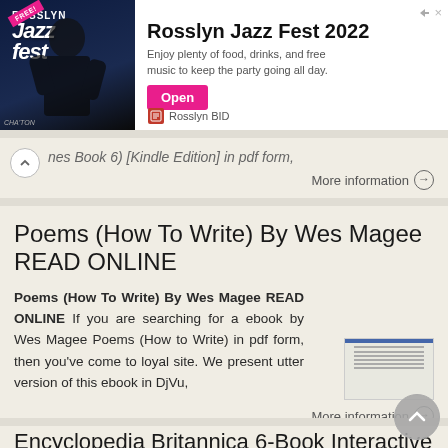[Figure (screenshot): Advertisement banner for Rosslyn Jazz Fest 2022 by Rosslyn BID with Open button]
nes Book 6) [Kindle Edition] in pdf form,
More information →
Poems (How To Write) By Wes Magee READ ONLINE
Poems (How To Write) By Wes Magee READ ONLINE If you are searching for a ebook by Wes Magee Poems (How to Write) in pdf form, then you've come to loyal site. We present utter version of this ebook in DjVu,
More information →
Encyclopedia Britannica 6-Book Interactive